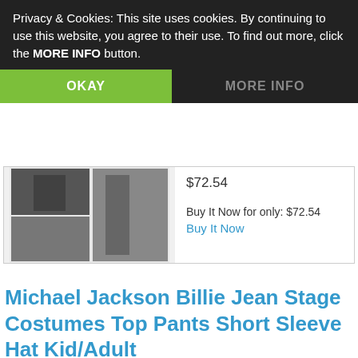Privacy & Cookies: This site uses cookies. By continuing to use this website, you agree to their use. To find out more, click the MORE INFO button.
OKAY
MORE INFO
$72.54
Buy It Now for only: $72.54
Buy It Now
Michael Jackson Billie Jean Stage Costumes Top Pants Short Sleeve Hat Kid/Adult
$38.44